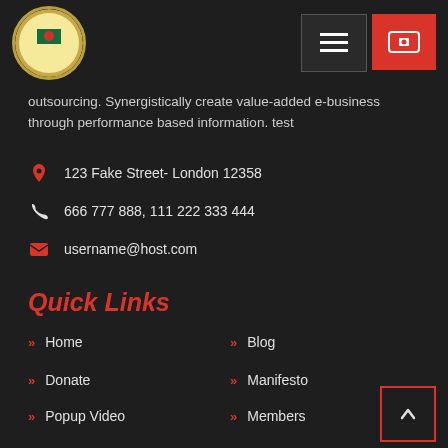Navigation header with logo, menu button, and donate button
outsourcing. Synergistically create value-added e-business through performance based information. test
123 Fake Street- London 12358
666 777 888, 111 222 333 444
username@host.com
Quick Links
Home
Blog
Donate
Manifesto
Popup Video
Members
Call To Action
Video